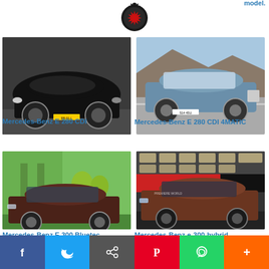[Figure (photo): Circular gear/cog logo with red star burst in center, positioned at top center]
[Figure (photo): Black Mercedes-Benz E 280 CDI sedan parked against gray wall background]
Mercedes-Benz E 280 CDI
[Figure (photo): Blue/silver Mercedes-Benz E 280 CDI 4MATIC driving on road with rocky hillside]
Mercedes-Benz E 280 CDI 4MATIC
[Figure (photo): Dark red/brown Mercedes-Benz E 300 Bluetec sedan parked in front of green building with trees]
Mercedes-Benz E 300 Bluetec
[Figure (photo): Brown/maroon Mercedes-Benz e-300-hybrid at auto show with red backdrop]
Mercedes-Benz e-300-hybrid
[Figure (infographic): Social sharing bar with Facebook, Twitter, Email/Share, Pinterest, WhatsApp, and more (+) buttons]